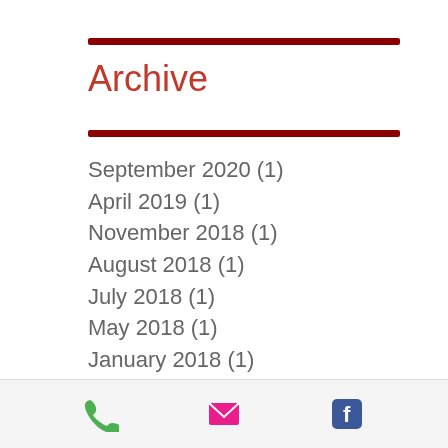Archive
September 2020 (1)
April 2019 (1)
November 2018 (1)
August 2018 (1)
July 2018 (1)
May 2018 (1)
January 2018 (1)
September 2017 (1)
August 2017 (1)
June 2017 (1)
March 2017 (1)
December 2016 (1)
Phone | Email | Facebook